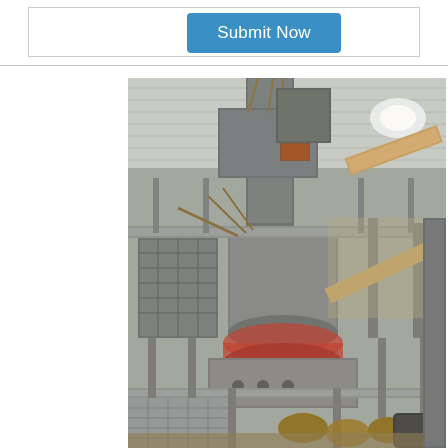Submit Now
[Figure (photo): Industrial facility interior showing heavy mining or crushing equipment — a large cone crusher or similar industrial machine with cylindrical body, metal walkways/grating platforms, conveyor belts, structural steel columns, and a corrugated metal roof. The machinery appears dusty and worn, suggesting active use in a mining or aggregate processing plant.]